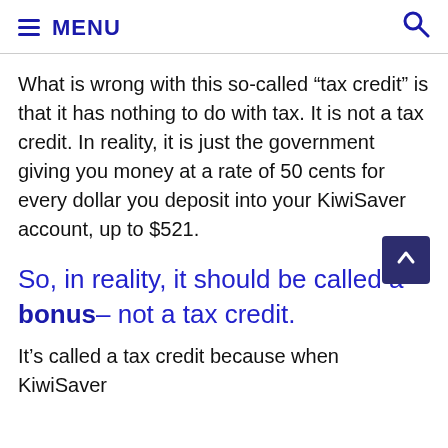≡ MENU 🔍
What is wrong with this so-called “tax credit” is that it has nothing to do with tax. It is not a tax credit. In reality, it is just the government giving you money at a rate of 50 cents for every dollar you deposit into your KiwiSaver account, up to $521.
So, in reality, it should be called a bonus– not a tax credit.
It’s called a tax credit because when KiwiSaver